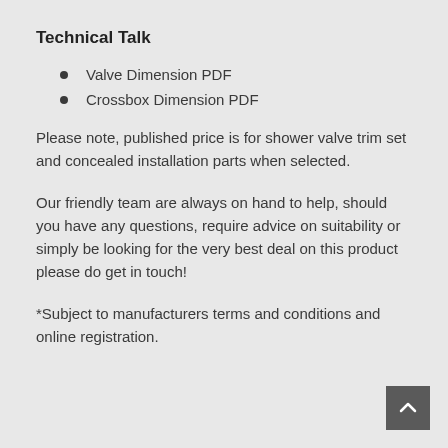Technical Talk
Valve Dimension PDF
Crossbox Dimension PDF
Please note, published price is for shower valve trim set and concealed installation parts when selected.
Our friendly team are always on hand to help, should you have any questions, require advice on suitability or simply be looking for the very best deal on this product please do get in touch!
*Subject to manufacturers terms and conditions and online registration.